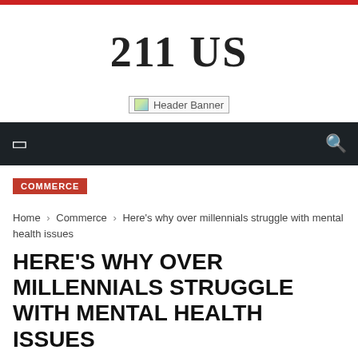211 US
[Figure (other): Header Banner placeholder image]
navigation bar with menu and search icons
COMMERCE
Home › Commerce › Here's why over millennials struggle with mental health issues
HERE'S WHY OVER MILLENNIALS STRUGGLE WITH MENTAL HEALTH ISSUES